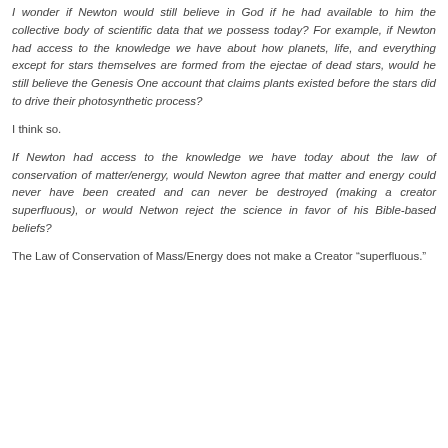I wonder if Newton would still believe in God if he had available to him the collective body of scientific data that we possess today? For example, if Newton had access to the knowledge we have about how planets, life, and everything except for stars themselves are formed from the ejectae of dead stars, would he still believe the Genesis One account that claims plants existed before the stars did to drive their photosynthetic process?
I think so.
If Newton had access to the knowledge we have today about the law of conservation of matter/energy, would Newton agree that matter and energy could never have been created and can never be destroyed (making a creator superfluous), or would Netwon reject the science in favor of his Bible-based beliefs?
The Law of Conservation of Mass/Energy does not make a Creator “superfluous.”